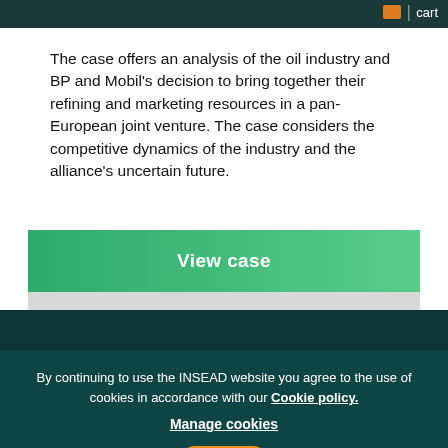cart
The case offers an analysis of the oil industry and BP and Mobil’s decision to bring together their refining and marketing resources in a pan-European joint venture. The case considers the competitive dynamics of the industry and the alliance's uncertain future.
View case
Faculty & Research
Faculty
Research
Distributors
Case Centre
CCMP
By continuing to use the INSEAD website you agree to the use of cookies in accordance with our Cookie policy.
Manage cookies
OK